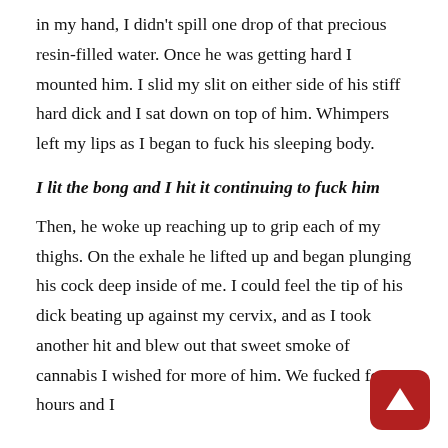in my hand, I didn't spill one drop of that precious resin-filled water. Once he was getting hard I mounted him. I slid my slit on either side of his stiff hard dick and I sat down on top of him. Whimpers left my lips as I began to fuck his sleeping body.
I lit the bong and I hit it continuing to fuck him
Then, he woke up reaching up to grip each of my thighs. On the exhale he lifted up and began plunging his cock deep inside of me. I could feel the tip of his dick beating up against my cervix, and as I took another hit and blew out that sweet smoke of cannabis I wished for more of him. We fucked for hours and I